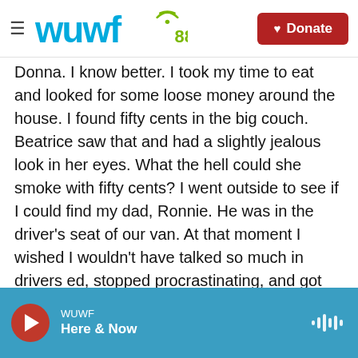WUWF 88.1 | Donate
Donna. I know better. I took my time to eat and looked for some loose money around the house. I found fifty cents in the big couch. Beatrice saw that and had a slightly jealous look in her eyes. What the hell could she smoke with fifty cents? I went outside to see if I could find my dad, Ronnie. He was in the driver's seat of our van. At that moment I wished I wouldn't have talked so much in drivers ed, stopped procrastinating, and got my license sooner.

"You gotta get to school?" he asked in a mumbled, half-sleep voice, without turning his head at all.
WUWF Here & Now